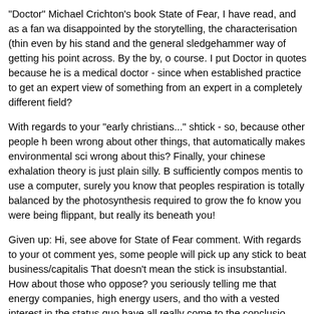"Doctor" Michael Crichton's book State of Fear, I have read, and as a fan wa disappointed by the storytelling, the characterisation (thin even by his stand and the general sledgehammer way of getting his point across. By the by, o course. I put Doctor in quotes because he is a medical doctor - since when established practice to get an expert view of something from an expert in a completely different field?
With regards to your "early christians..." shtick - so, because other people h been wrong about other things, that automatically makes environmental sci wrong about this? Finally, your chinese exhalation theory is just plain silly. B sufficiently compos mentis to use a computer, surely you know that peoples respiration is totally balanced by the photosynthesis required to grow the fo know you were being flippant, but really its beneath you!
Given up: Hi, see above for State of Fear comment. With regards to your ot comment yes, some people will pick up any stick to beat business/capitalis That doesn't mean the stick is insubstantial. How about those who oppose? you seriously telling me that energy companies, high energy users, and tho with a vested interest in the status quo have all really come to the conclusio quite dispassionately and with no regard to their own interests, that its not w worrying about? Obviously there are some genuine problems with vested interests, and environmental pressure groups have these but really, both sic can play at that game and it doesn't get anyone anywhere.